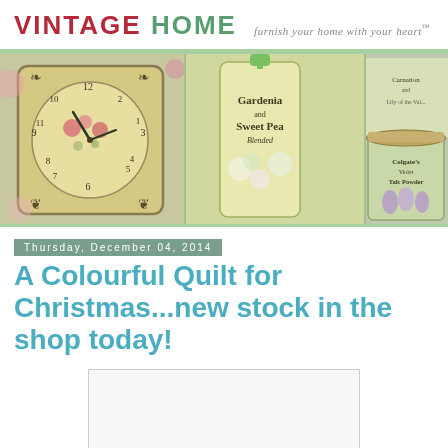VINTAGE HOME furnish your home with your heart™
[Figure (photo): Collage banner photo: vintage floral clock on left, green floral bottles including Gardenia and Sweet Pea blend in center, and vintage Colgate's Violet Talc Powder tin with floral decoration on right]
Thursday, December 04, 2014
A Colourful Quilt for Christmas...new stock in the shop today!
[Figure (photo): Partially visible product photo placeholder (white/light grey rectangle)]